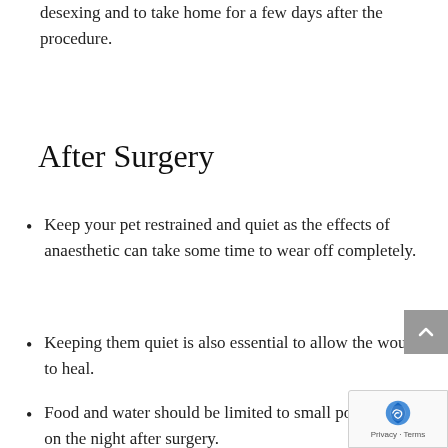desexing and to take home for a few days after the procedure.
After Surgery
Keep your pet restrained and quiet as the effects of anaesthetic can take some time to wear off completely.
Keeping them quiet is also essential to allow the wound to heal.
Food and water should be limited to small portions only on the night after surgery.